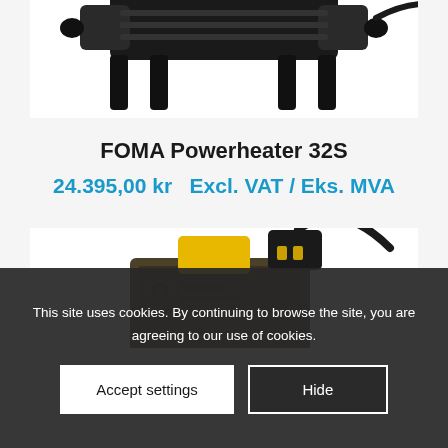[Figure (photo): Top portion of FOMA Powerheater 32S product image showing black heater unit on white background, cropped at top]
FOMA Powerheater 32S
24.395,00 kr  Excl. VAT / Eks. MVA
[Figure (photo): Second product image showing FOMA Powerheater device with yellow casing and black connector with cable, partially obscured by cookie banner]
This site uses cookies. By continuing to browse the site, you are agreeing to our use of cookies.